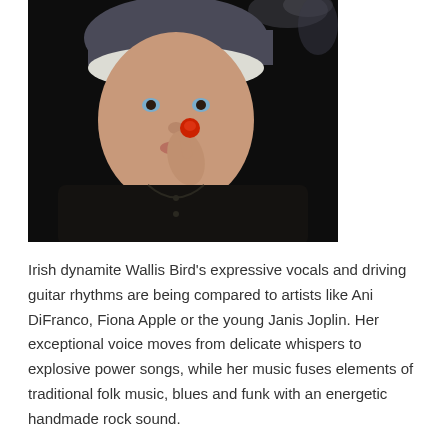[Figure (photo): Portrait photograph of Wallis Bird, a woman with short white-blonde hair wearing a dark grey beanie hat and black shirt, holding a small red object (guitar pick or berry) up near her lips, photographed against a black background.]
Irish dynamite Wallis Bird's expressive vocals and driving guitar rhythms are being compared to artists like Ani DiFranco, Fiona Apple or the young Janis Joplin. Her exceptional voice moves from delicate whispers to explosive power songs, while her music fuses elements of traditional folk music, blues and funk with an energetic handmade rock sound.